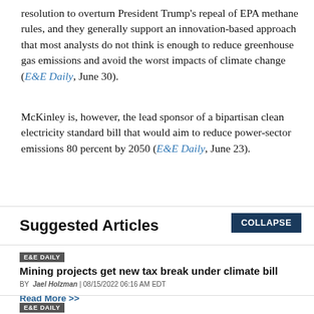resolution to overturn President Trump's repeal of EPA methane rules, and they generally support an innovation-based approach that most analysts do not think is enough to reduce greenhouse gas emissions and avoid the worst impacts of climate change (E&E Daily, June 30).
McKinley is, however, the lead sponsor of a bipartisan clean electricity standard bill that would aim to reduce power-sector emissions 80 percent by 2050 (E&E Daily, June 23).
Suggested Articles
E&E DAILY
Mining projects get new tax break under climate bill
BY Jael Holzman | 08/15/2022 06:16 AM EDT
Read More >>
E&E DAILY
'A lot more to do': Lawmakers eye additional climate action